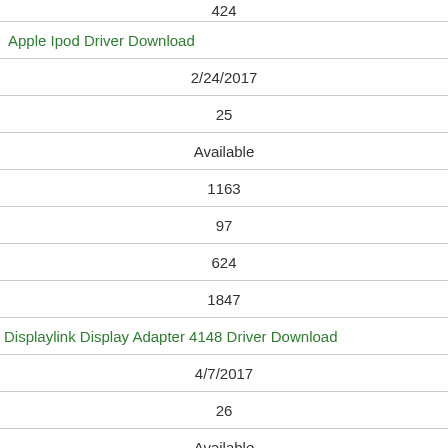424
Apple Ipod Driver Download
2/24/2017
25
Available
1163
97
624
1847
Displaylink Display Adapter 4148 Driver Download
4/7/2017
26
Available
4349
524
695
5545
Fc Application Interface Driver Download
3/17/2017
18
Available
2484